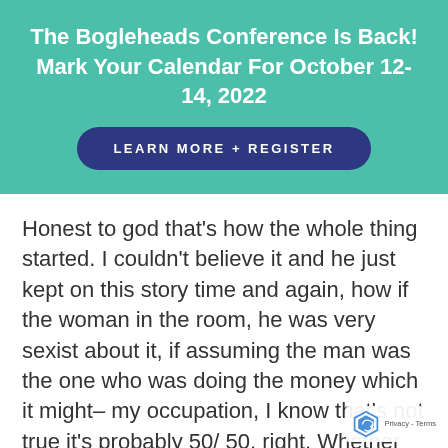The Bogleheads Conference Is Back! Mark Your Calendar For October 12-14, 2022
LEARN MORE + REGISTER
Honest to god that's how the whole thing started. I couldn't believe it and he just kept on this story time and again, how if the woman in the room, he was very sexist about it, if assuming the man was the one who was doing the money which it might– my occupation, I know that's not true it's probably 50/50, right. Whether the woman does the money in the house or the man